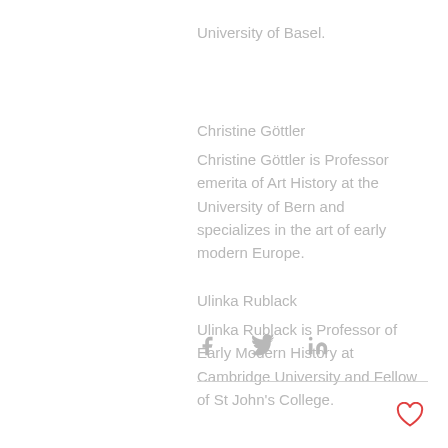University of Basel.
Christine Göttler
Christine Göttler is Professor emerita of Art History at the University of Bern and specializes in the art of early modern Europe.
Ulinka Rublack
Ulinka Rublack is Professor of Early Modern History at Cambridge University and Fellow of St John's College.
[Figure (other): Social media share icons: Facebook, Twitter, LinkedIn]
[Figure (other): Heart/like icon in red outline]